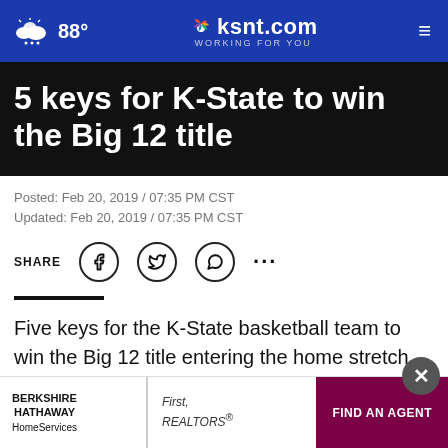88° ksnt.com WORKING FOR YOU
5 keys for K-State to win the Big 12 title
Posted: Feb 20, 2019 / 07:35 PM CST
Updated: Feb 20, 2019 / 07:35 PM CST
SHARE
Five keys for the K-State basketball team to win the Big 12 title entering the home stretch.
Stay healthy
The bi…
[Figure (other): Berkshire Hathaway HomeServices advertisement banner with Find An Agent button, First, Realtors branding, and close (X) button]